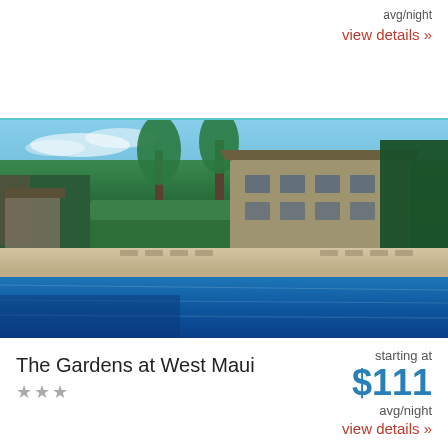avg/night
view details »
[Figure (photo): Outdoor swimming pool surrounded by lounge chairs and lush tropical greenery with palm trees and a multi-story hotel building in the background under a blue sky.]
The Gardens at West Maui
★★★
starting at
$111
avg/night
view details »